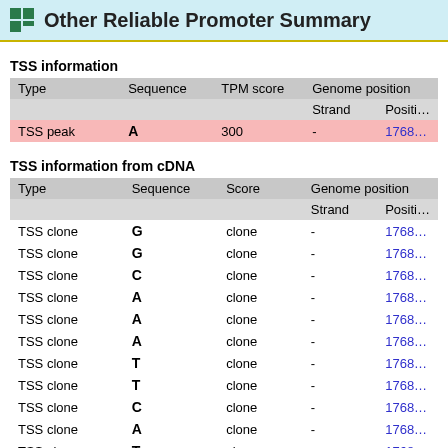Other Reliable Promoter Summary
TSS information
| Type | Sequence | TPM score | Genome position / Strand | Genome position / Position |
| --- | --- | --- | --- | --- |
| TSS peak | A | 300 | - | 1768... |
TSS information from cDNA
| Type | Sequence | Score | Genome position / Strand | Genome position / Position |
| --- | --- | --- | --- | --- |
| TSS clone | G | clone | - | 1768... |
| TSS clone | G | clone | - | 1768... |
| TSS clone | C | clone | - | 1768... |
| TSS clone | A | clone | - | 1768... |
| TSS clone | A | clone | - | 1768... |
| TSS clone | A | clone | - | 1768... |
| TSS clone | T | clone | - | 1768... |
| TSS clone | T | clone | - | 1768... |
| TSS clone | C | clone | - | 1768... |
| TSS clone | A | clone | - | 1768... |
| TSS clone | T | clone | - | 1768... |
| TSS clone | G | clone | - | 1768... |
| TSS clone | A | clone | - | 1768... |
| TSS clone | T | clone | - | 1768... |
| TSS clone | T | clone | - | 1768... |